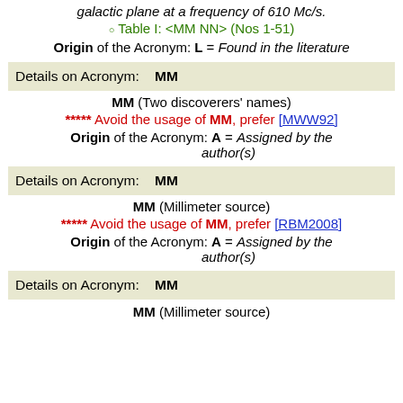galactic plane at a frequency of 610 Mc/s.
Table I: <MM NN> (Nos 1-51)
Origin of the Acronym: L = Found in the literature
Details on Acronym: MM
MM (Two discoverers' names)
***** Avoid the usage of MM, prefer [MWW92]
Origin of the Acronym: A = Assigned by the author(s)
Details on Acronym: MM
MM (Millimeter source)
***** Avoid the usage of MM, prefer [RBM2008]
Origin of the Acronym: A = Assigned by the author(s)
Details on Acronym: MM
MM (Millimeter source)